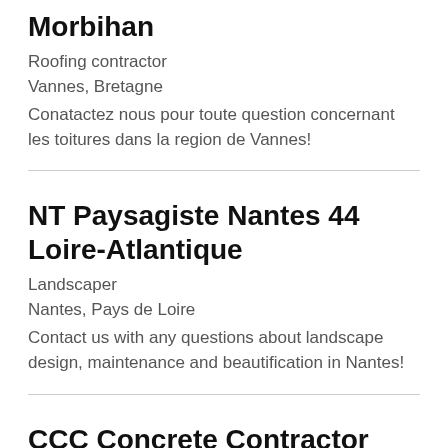Morbihan
Roofing contractor
Vannes, Bretagne
Conatactez nous pour toute question concernant les toitures dans la region de Vannes!
NT Paysagiste Nantes 44 Loire-Atlantique
Landscaper
Nantes, Pays de Loire
Contact us with any questions about landscape design, maintenance and beautification in Nantes!
CCC Concrete Contractor Cleveland